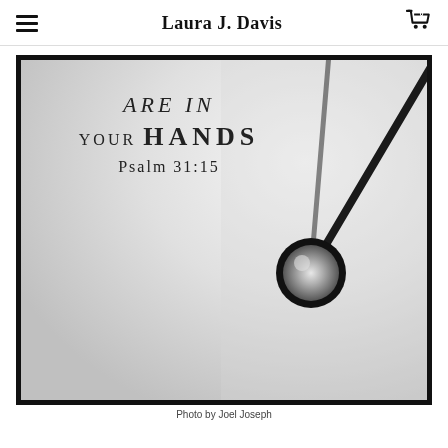Laura J. Davis
[Figure (photo): Black and white close-up photo of a clock face showing clock hands and center pivot, with overlay text reading 'ARE IN YOUR HANDS Psalm 31:15']
Photo by Joel Joseph